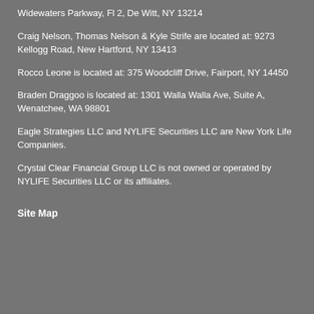Widewaters Parkway, Fl 2, De Witt, NY 13214
Craig Nelson, Thomas Nelson & Kyle Strife are located at: 9273 Kellogg Road, New Hartford, NY 13413
Rocco Leone is located at: 375 Woodcliff Drive, Fairport, NY 14450
Braden Draggoo is located at: 1301 Walla Walla Ave, Suite A, Wenatchee, WA 98801
Eagle Strategies LLC and NYLIFE Securities LLC are New York Life Companies.
Crystal Clear Financial Group LLC is not owned or operated by NYLIFE Securities LLC or its affiliates.
Site Map